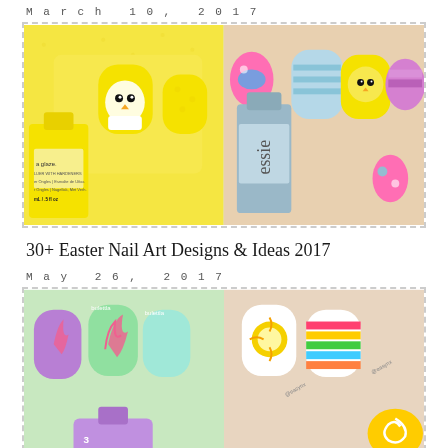March 10, 2017
[Figure (photo): Two Easter nail art photos side by side: left shows yellow nails with a chick design and China Glaze nail polish bottle; right shows pastel nails with Easter egg designs and an Essie nail polish bottle]
30+ Easter Nail Art Designs & Ideas 2017
May 26, 2017
[Figure (photo): Two summer nail art photos side by side: left shows colorful nails with tropical palm tree designs in pink, purple, and green; right shows nails with stripes and sun designs in bright rainbow colors]